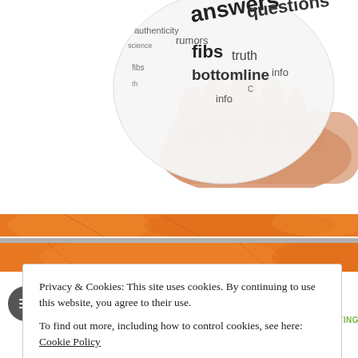[Figure (illustration): A hand holding a transparent globe covered with words: answers, questions, fibs, rumors, truth, authenticity, bottomline, info, science]
[Figure (photo): Orange citrus fruit texture used as decorative banner background, two horizontal stripes separated by a grey line]
POSTED BY
RACHEL
POSTED ON
JANUARY 18, 2018
POSTED UNDER
ABLEISN,
CELEBRATING
Privacy & Cookies: This site uses cookies. By continuing to use this website, you agree to their use. To find out more, including how to control cookies, see here: Cookie Policy
Close and accept